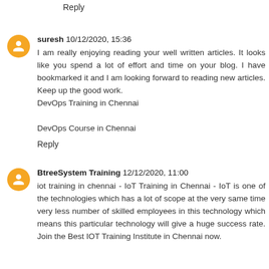Reply
suresh 10/12/2020, 15:36
I am really enjoying reading your well written articles. It looks like you spend a lot of effort and time on your blog. I have bookmarked it and I am looking forward to reading new articles. Keep up the good work.
DevOps Training in Chennai

DevOps Course in Chennai

Reply
BtreeSystem Training 12/12/2020, 11:00
iot training in chennai - IoT Training in Chennai - IoT is one of the technologies which has a lot of scope at the very same time very less number of skilled employees in this technology which means this particular technology will give a huge success rate. Join the Best IOT Training Institute in Chennai now.